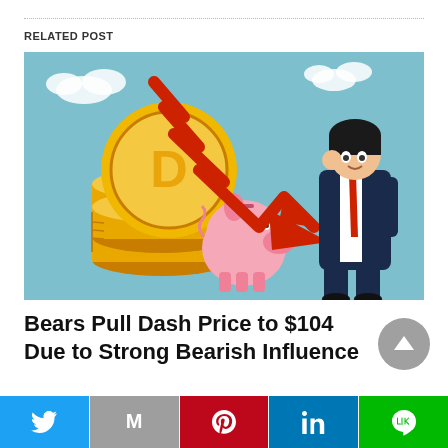RELATED POST
[Figure (illustration): Illustration of a bearish market: stacks of gold Dash cryptocurrency coins with piggy bank, a large red downward zigzag arrow indicating price drop, and a worried businessman in a suit looking at the chart.]
Bears Pull Dash Price to $104 Due to Strong Bearish Influence
Social share bar with Twitter, Gmail, Pinterest, LinkedIn, LINE buttons